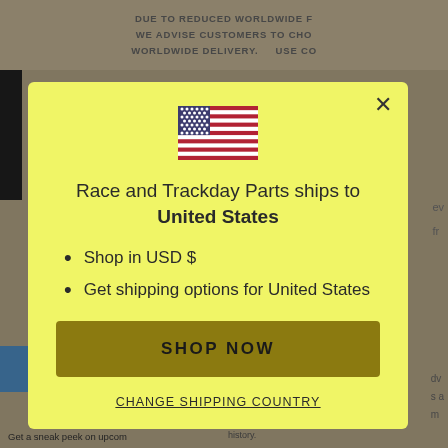DUE TO REDUCED WORLDWIDE F
WE ADVISE CUSTOMERS TO CHO
WORLDWIDE DELIVERY.    USE CO
[Figure (screenshot): Modal dialog overlay on an e-commerce website. Yellow background modal with US flag, text 'Race and Trackday Parts ships to United States', bullet points 'Shop in USD $' and 'Get shipping options for United States', a gold 'SHOP NOW' button, and a 'CHANGE SHIPPING COUNTRY' link. Behind the modal is partially visible website content.]
Race and Trackday Parts ships to United States
Shop in USD $
Get shipping options for United States
SHOP NOW
CHANGE SHIPPING COUNTRY
Get a sneak peek on upcom
your email address, general location, a history.